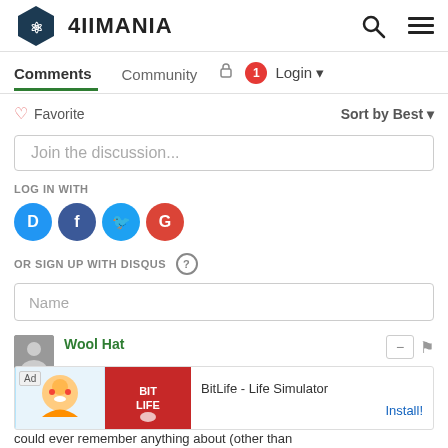4IIMANIA
Comments | Community | Login
♡ Favorite | Sort by Best
Join the discussion...
LOG IN WITH
[Figure (logo): Social login icons: Disqus (blue), Facebook (blue), Twitter (light blue), Google (red)]
OR SIGN UP WITH DISQUS ?
Name
Wool Hat
Ad  BitLife - Life Simulator  Install!
could ever remember anything about (other than